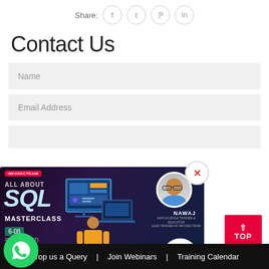Share:
Contact Us
Name
Email Address
[Figure (screenshot): SQL Masterclass promotional popup banner showing 'ALL ABOUT SQL MASTERCLASS' with date 6-08 2022, presenter NAWAJ, 6 Hours Free Training badge, and a WhatsApp icon. A close button (x) appears in top right of popup. A red TOP button appears on right side.]
Drop us a Query  |  Join Webinars  |  Training Calendar